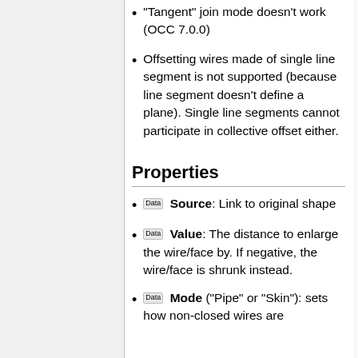"Tangent" join mode doesn't work (OCC 7.0.0)
Offsetting wires made of single line segment is not supported (because line segment doesn't define a plane). Single line segments cannot participate in collective offset either.
Properties
Data Source: Link to original shape
Data Value: The distance to enlarge the wire/face by. If negative, the wire/face is shrunk instead.
Data Mode ("Pipe" or "Skin"): sets how non-closed wires are